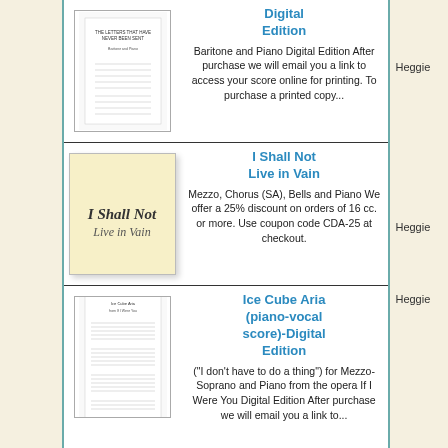[Figure (illustration): Cover page of sheet music for Baritone and Piano Digital Edition]
Digital Edition
Baritone and Piano Digital Edition After purchase we will email you a link to access your score online for printing. To purchase a printed copy...
Heggie
[Figure (illustration): Handwritten script cover page with cursive text on cream background]
I Shall Not Live in Vain
Mezzo, Chorus (SA), Bells and Piano We offer a 25% discount on orders of 16 cc. or more. Use coupon code CDA-25 at checkout.
Heggie
[Figure (illustration): Cover page of sheet music for Ice Cube Aria piano-vocal score Digital Edition]
Ice Cube Aria (piano-vocal score)-Digital Edition
("I don't have to do a thing") for Mezzo-Soprano and Piano from the opera If I Were You Digital Edition After purchase we will email you a link to...
Heggie